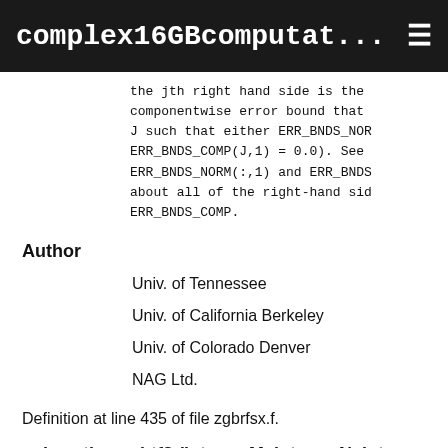complex16GBcomputat... ☰
the jth right hand side is the componentwise error bound that J such that either ERR_BNDS_NOR ERR_BNDS_COMP(J,1) = 0.0). See ERR_BNDS_NORM(:,1) and ERR_BNDS about all of the right-hand sic ERR_BNDS_COMP.
Author
Univ. of Tennessee
Univ. of California Berkeley
Univ. of Colorado Denver
NAG Ltd.
Definition at line 435 of file zgbrfsx.f.
subroutine zgbtf2 (integer M, integer N, integer KL, integer KU, complex*16, dimension( ldab, * ) AB, integer LDAB, integer, dimension( * ) IPIV,